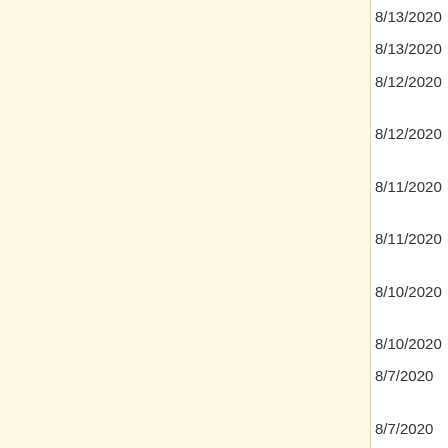8/13/2020 - An East-to-West, Two-Fund Ad...
8/13/2020 - Inc. Recognizes Fundsters and A...
8/12/2020 - A 31-Year Industry Vet Leaves a... Arm
8/12/2020 - Fundster Bigwigs Push Hiring 1... Underserved NYers
8/11/2020 - After a Retirement, a 17-Year V... Rises
8/11/2020 - How Hard Will COVID-19 Hit ... Pay?
8/10/2020 - Time to Prepare Now for the Fu... Wholesaling
8/10/2020 - Week In Preview, August 10 - 1...
8/7/2020 - A Holding Co Buys Into a 12-Fu... Keeps Hunting
8/7/2020 - WFH Until 2021? These Fundst... Choose
8/6/2020 - After 21 Years, a Managing Dire... JPMAM...